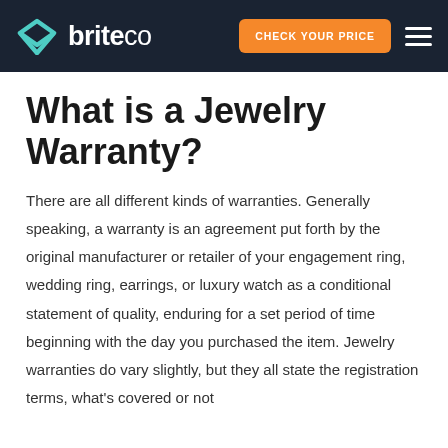briteco | CHECK YOUR PRICE
What is a Jewelry Warranty?
There are all different kinds of warranties. Generally speaking, a warranty is an agreement put forth by the original manufacturer or retailer of your engagement ring, wedding ring, earrings, or luxury watch as a conditional statement of quality, enduring for a set period of time beginning with the day you purchased the item. Jewelry warranties do vary slightly, but they all state the registration terms, what's covered or not